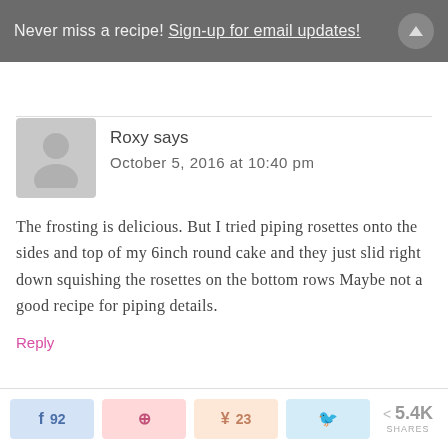Never miss a recipe! Sign-up for email updates!
Roxy says
October 5, 2016 at 10:40 pm
The frosting is delicious. But I tried piping rosettes onto the sides and top of my 6inch round cake and they just slid right down squishing the rosettes on the bottom rows Maybe not a good recipe for piping details.
Reply